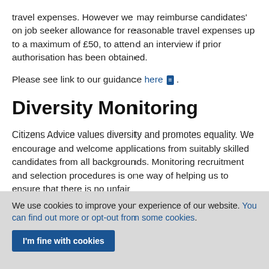travel expenses. However we may reimburse candidates' on job seeker allowance for reasonable travel expenses up to a maximum of £50, to attend an interview if prior authorisation has been obtained.
Please see link to our guidance here .
Diversity Monitoring
Citizens Advice values diversity and promotes equality. We encourage and welcome applications from suitably skilled candidates from all backgrounds. Monitoring recruitment and selection procedures is one way of helping us to ensure that there is no unfair
We use cookies to improve your experience of our website. You can find out more or opt-out from some cookies.